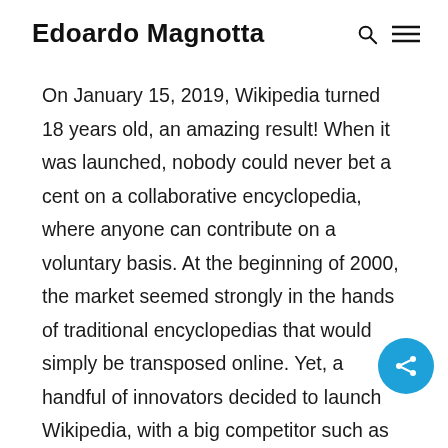Edoardo Magnotta
On January 15, 2019, Wikipedia turned 18 years old, an amazing result! When it was launched, nobody could never bet a cent on a collaborative encyclopedia, where anyone can contribute on a voluntary basis. At the beginning of 2000, the market seemed strongly in the hands of traditional encyclopedias that would simply be transposed online. Yet, a handful of innovators decided to launch Wikipedia, with a big competitor such as Encarta. However, after 5 years from the